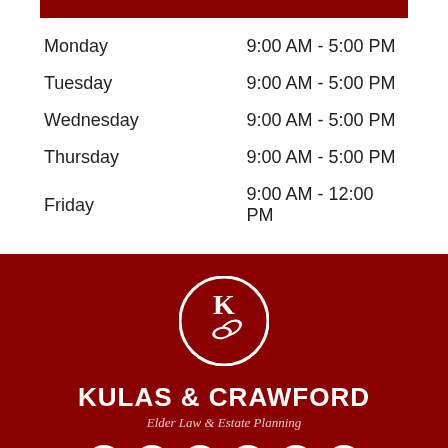| Day | Hours |
| --- | --- |
| Monday | 9:00 AM - 5:00 PM |
| Tuesday | 9:00 AM - 5:00 PM |
| Wednesday | 9:00 AM - 5:00 PM |
| Thursday | 9:00 AM - 5:00 PM |
| Friday | 9:00 AM - 12:00 PM |
[Figure (logo): Kulas & Crawford circular logo with stylized K and leaf design]
KULAS & CRAWFORD
Elder Law & Estate Planning
[Figure (infographic): Social media icons: Facebook, Instagram, LinkedIn, RSS, Twitter, YouTube]
The information on this Florida Attorneys & Lawyers / Law